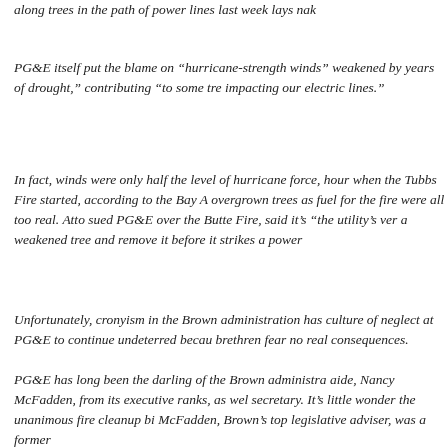along trees in the path of power lines last week lays nak
PG&E itself put the blame on “hurricane-strength winds” weakened by years of drought,” contributing “to some tre impacting our electric lines.”
In fact, winds were only half the level of hurricane force, hour when the Tubbs Fire started, according to the Bay A overgrown trees as fuel for the fire were all too real. Atto sued PG&E over the Butte Fire, said it’s “the utility’s ver a weakened tree and remove it before it strikes a power
Unfortunately, cronyism in the Brown administration has culture of neglect at PG&E to continue undeterred becau brethren fear no real consequences.
PG&E has long been the darling of the Brown administra aide, Nancy McFadden, from its executive ranks, as wel secretary. It’s little wonder the unanimous fire cleanup bi McFadden, Brown’s top legislative adviser, was a former